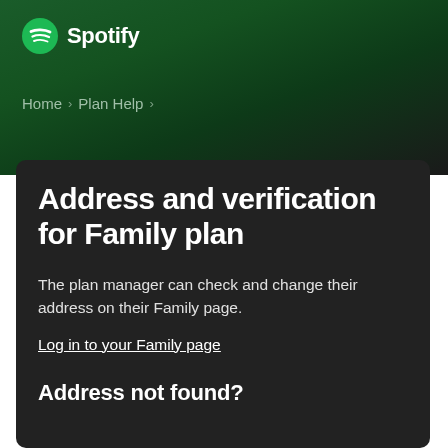[Figure (logo): Spotify logo with circular icon and wordmark in white]
Home > Plan Help >
Address and verification for Family plan
The plan manager can check and change their address on their Family page.
Log in to your Family page
Address not found?